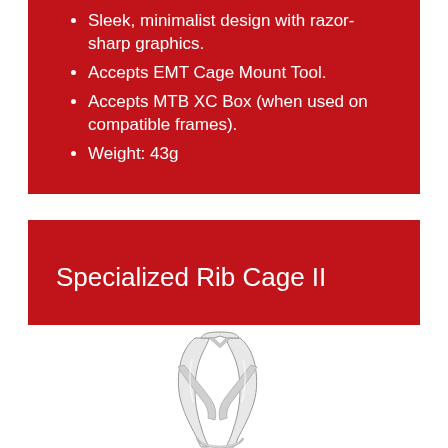Sleek, minimalist design with razor-sharp graphics.
Accepts EMT Cage Mount Tool.
Accepts MTB XC Box (when used on compatible frames).
Weight: 43g
Specialized Rib Cage II
[Figure (photo): White/silver Specialized Rib Cage II bottle cage photographed on white background]